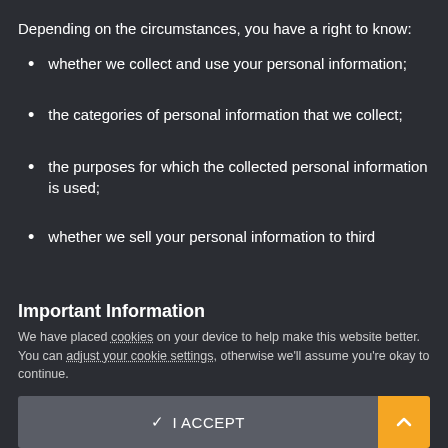Depending on the circumstances, you have a right to know:
whether we collect and use your personal information;
the categories of personal information that we collect;
the purposes for which the collected personal information is used;
whether we sell your personal information to third
Important Information
We have placed cookies on your device to help make this website better. You can adjust your cookie settings, otherwise we'll assume you're okay to continue.
✓ I ACCEPT